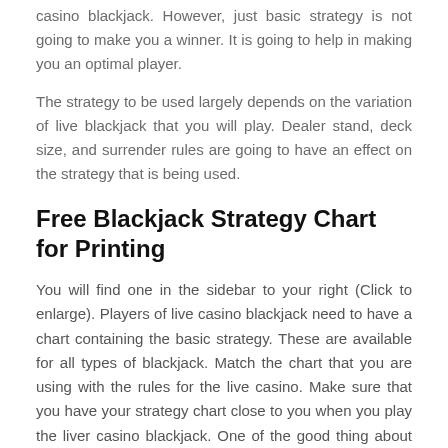You need to use basic strategy if you have improved at live casino blackjack. However, just basic strategy is not going to make you a winner. It is going to help in making you an optimal player.
The strategy to be used largely depends on the variation of live blackjack that you will play. Dealer stand, deck size, and surrender rules are going to have an effect on the strategy that is being used.
Free Blackjack Strategy Chart for Printing
You will find one in the sidebar to your right (Click to enlarge). Players of live casino blackjack need to have a chart containing the basic strategy. These are available for all types of blackjack. Match the chart that you are using with the rules for the live casino. Make sure that you have your strategy chart close to you when you play the liver casino blackjack. One of the good thing about playing from the comfort of your home is that you will be able to refer to the table when you need.